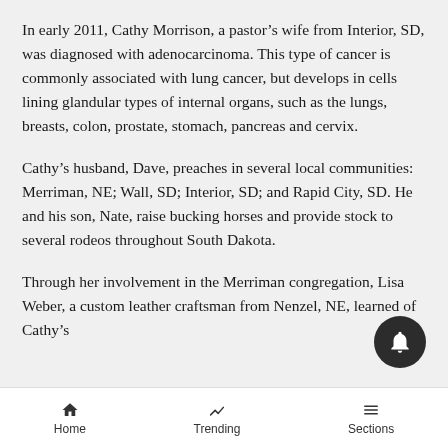In early 2011, Cathy Morrison, a pastor's wife from Interior, SD, was diagnosed with adenocarcinoma. This type of cancer is commonly associated with lung cancer, but develops in cells lining glandular types of internal organs, such as the lungs, breasts, colon, prostate, stomach, pancreas and cervix.
Cathy's husband, Dave, preaches in several local communities: Merriman, NE; Wall, SD; Interior, SD; and Rapid City, SD. He and his son, Nate, raise bucking horses and provide stock to several rodeos throughout South Dakota.
Through her involvement in the Merriman congregation, Lisa Weber, a custom leather craftsman from Nenzel, NE, learned of Cathy's
Home  Trending  Sections